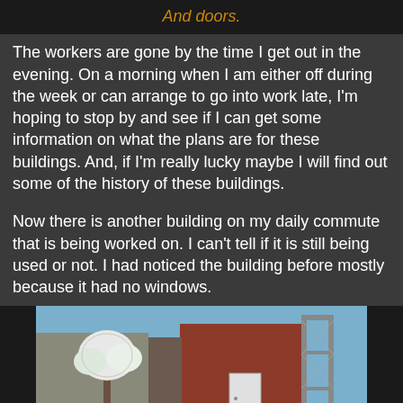And doors.
The workers are gone by the time I get out in the evening. On a morning when I am either off during the week or can arrange to go into work late, I'm hoping to stop by and see if I can get some information on what the plans are for these buildings. And, if I'm really lucky maybe I will find out some of the history of these buildings.
Now there is another building on my daily commute that is being worked on. I can't tell if it is still being used or not. I had noticed the building before mostly because it had no windows.
[Figure (photo): Street-level photo showing a red brick building with no windows, a white door, scaffolding with chain-link fencing on the right, a blooming white tree, yellow caution tape, and an orange construction barrel on the sidewalk.]